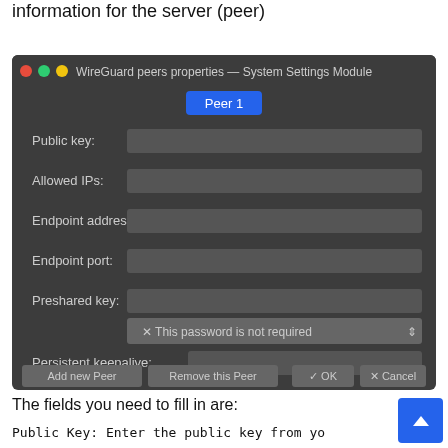information for the server (peer)
[Figure (screenshot): WireGuard peers properties — System Settings Module dialog showing fields: Public key, Allowed IPs, Endpoint address, Endpoint port, Preshared key (with dropdown 'This password is not required'), Persistent keepalive. Buttons: Add new Peer, Remove this Peer, OK, Cancel. Dark themed UI.]
The fields you need to fill in are:
Public Key: Enter the public key from yo